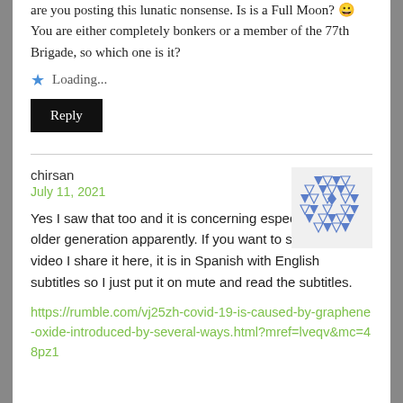are you posting this lunatic nonsense. Is is a Full Moon? 😀 You are either completely bonkers or a member of the 77th Brigade, so which one is it?
Loading...
Reply
chirsan
July 11, 2021
[Figure (illustration): Avatar/gravatar icon — geometric blue triangle pattern on white background]
Yes I saw that too and it is concerning especially for the older generation apparently. If you want to see to the video I share it here, it is in Spanish with English subtitles so I just put it on mute and read the subtitles.
https://rumble.com/vj25zh-covid-19-is-caused-by-graphene-oxide-introduced-by-several-ways.html?mref=lveqv&mc=48pz1